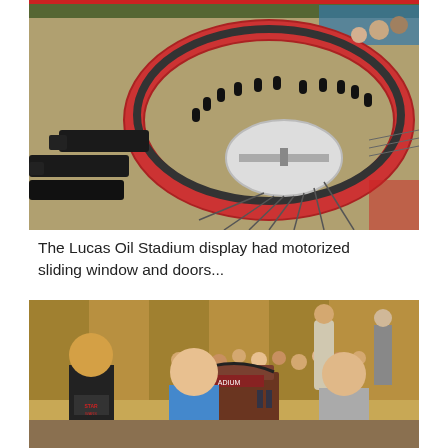[Figure (photo): Aerial view of a detailed LEGO model of a circular railroad roundhouse with model trains on tracks, red brick building with arched windows, turntable in center, surrounded by extensive track layout.]
The Lucas Oil Stadium display had motorized sliding window and doors...
[Figure (photo): Children posing in front of a LEGO model of Lucas Oil Stadium at an exhibition, with a crowd of visitors visible in the background in a convention hall.]